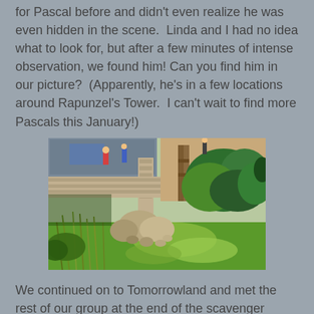for Pascal before and didn't even realize he was even hidden in the scene.  Linda and I had no idea what to look for, but after a few minutes of intense observation, we found him! Can you find him in our picture?  (Apparently, he's in a few locations around Rapunzel's Tower.  I can't wait to find more Pascals this January!)
[Figure (photo): Outdoor scene near Rapunzel's Tower at a theme park. Shows stone walls, lush green shrubs and grass, large boulders, scattered rocks, and grassy vegetation in bright sunlight. In the background are park visitors and a wooden fence/gate structure.]
We continued on to Tomorrowland and met the rest of our group at the end of the scavenger hunt.  We all had lots of fun!  After, we decided that we'd grab something for lunch and hang out in the park together.  We decided to go to Sleepy Hollow and